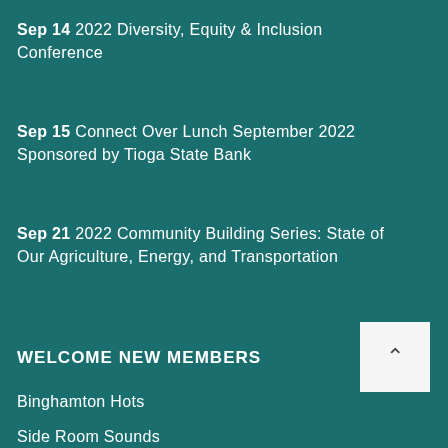Sep 14 2022 Diversity, Equity & Inclusion Conference
Sep 15 2022 Connect Over Lunch September 2022 Sponsored by Tioga State Bank
Sep 21 2022 Community Building Series: State of Our Agriculture, Energy, and Transportation
WELCOME NEW MEMBERS
Binghamton Hots
Side Room Sounds